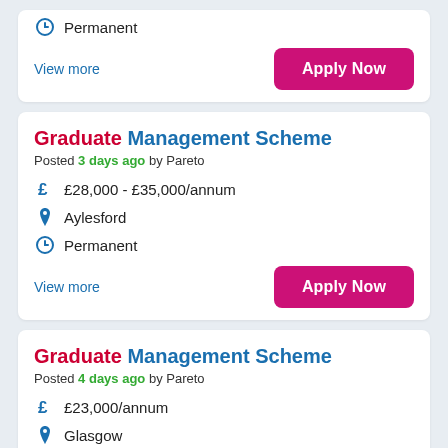Permanent
View more
Apply Now
Graduate Management Scheme
Posted 3 days ago by Pareto
£28,000 - £35,000/annum
Aylesford
Permanent
View more
Apply Now
Graduate Management Scheme
Posted 4 days ago by Pareto
£23,000/annum
Glasgow
Permanent